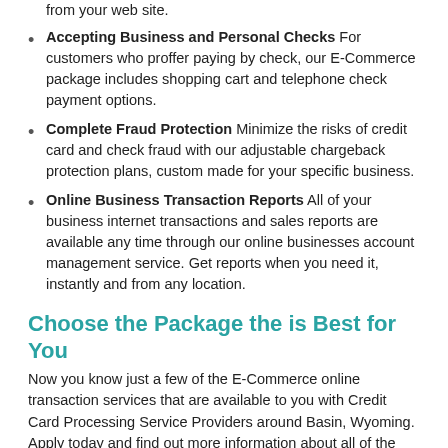from your web site.
Accepting Business and Personal Checks For customers who proffer paying by check, our E-Commerce package includes shopping cart and telephone check payment options.
Complete Fraud Protection Minimize the risks of credit card and check fraud with our adjustable chargeback protection plans, custom made for your specific business.
Online Business Transaction Reports All of your business internet transactions and sales reports are available any time through our online businesses account management service. Get reports when you need it, instantly and from any location.
Choose the Package the is Best for You
Now you know just a few of the E-Commerce online transaction services that are available to you with Credit Card Processing Service Providers around Basin, Wyoming. Apply today and find out more information about all of the merchant account solution services that are available now to help you increase your Internet sales success.
Mail and Telephone Order Merchant Service